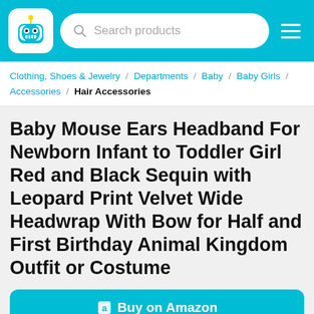Search products
Clothing, Shoes & Jewelry / Departments / Baby / Baby Girls / Accessories / Hair Accessories
Baby Mouse Ears Headband For Newborn Infant to Toddler Girl Red and Black Sequin with Leopard Print Velvet Wide Headwrap With Bow for Half and First Birthday Animal Kingdom Outfit or Costume
Buy on Amazon
Start Watching